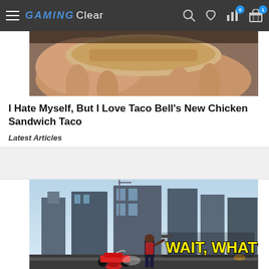GAMING Clear
[Figure (photo): Close-up photo of food item being held in hand, taco or sandwich]
I Hate Myself, But I Love Taco Bell's New Chicken Sandwich Taco
Latest Articles
[Figure (screenshot): Video game screenshot showing a character standing near a red motorcycle in a futuristic city with text overlay reading WAIT, WHAT?!]